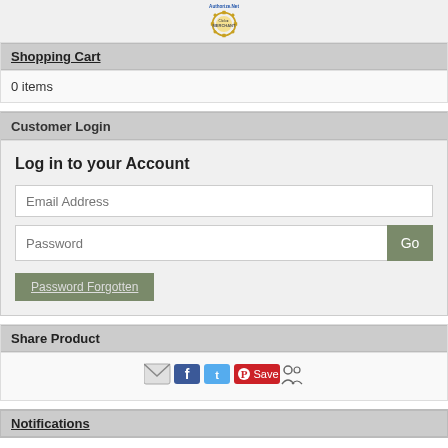[Figure (logo): Authorize.Net Click Merchant badge/seal - gold gear logo with 'Click' text]
Shopping Cart
0 items
Customer Login
Log in to your Account
Email Address
Password
Go
Password Forgotten
Share Product
[Figure (infographic): Social sharing icons: email envelope, Facebook, Twitter, Pinterest Save, and a share/group icon]
Notifications